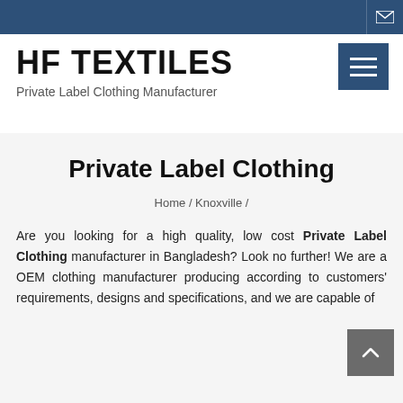HF TEXTILES - Navigation bar with email icon
HF TEXTILES
Private Label Clothing Manufacturer
Private Label Clothing
Home / Knoxville /
Are you looking for a high quality, low cost Private Label Clothing manufacturer in Bangladesh? Look no further! We are a OEM clothing manufacturer producing according to customers' requirements, designs and specifications, and we are capable of